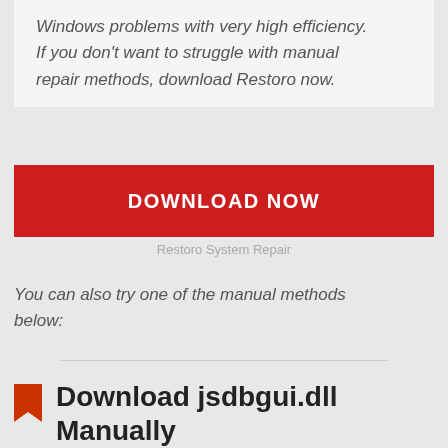Windows problems with very high efficiency. If you don't want to struggle with manual repair methods, download Restoro now.
[Figure (other): Red DOWNLOAD NOW button]
Restoro System Repair
You can also try one of the manual methods below:
Download jsdbgui.dll Manually